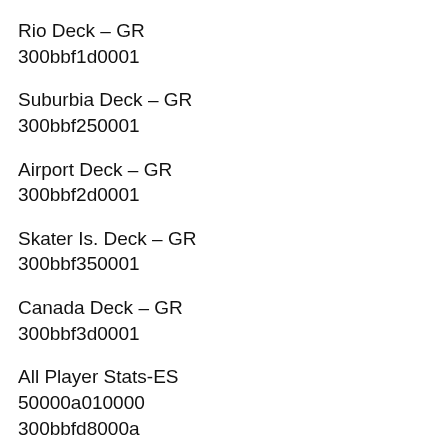Rio Deck – GR
300bbf1d0001
Suburbia Deck – GR
300bbf250001
Airport Deck – GR
300bbf2d0001
Skater Is. Deck – GR
300bbf350001
Canada Deck – GR
300bbf3d0001
All Player Stats-ES
50000a010000
300bbfd8000a
Max Air-ES
300bbfd8000a
Max Hang Time-ES